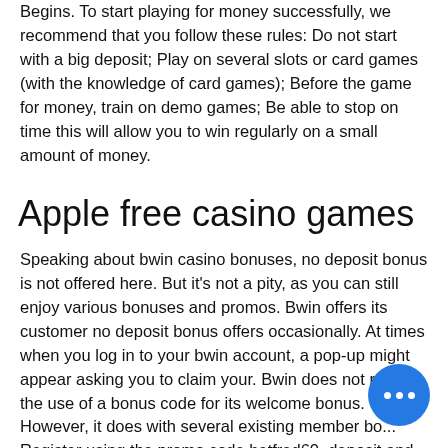Begins. To start playing for money successfully, we recommend that you follow these rules: Do not start with a big deposit; Play on several slots or card games (with the knowledge of card games); Before the game for money, train on demo games; Be able to stop on time this will allow you to win regularly on a small amount of money.
Apple free casino games
Speaking about bwin casino bonuses, no deposit bonus is not offered here. But it's not a pity, as you can still enjoy various bonuses and promos. Bwin offers its customer no deposit bonus offers occasionally. At times when you log in to your bwin account, a pop-up might appear asking you to claim your. Bwin does not require the use of a bonus code for its welcome bonus. However, it does with several existing member bo... Register using the promo code betfred60, deposit and place first bet of £10+ on sports...